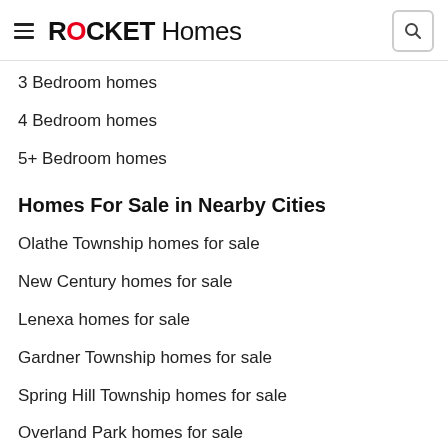ROCKET Homes
3 Bedroom homes
4 Bedroom homes
5+ Bedroom homes
Homes For Sale in Nearby Cities
Olathe Township homes for sale
New Century homes for sale
Lenexa homes for sale
Gardner Township homes for sale
Spring Hill Township homes for sale
Overland Park homes for sale
De Soto homes for sale